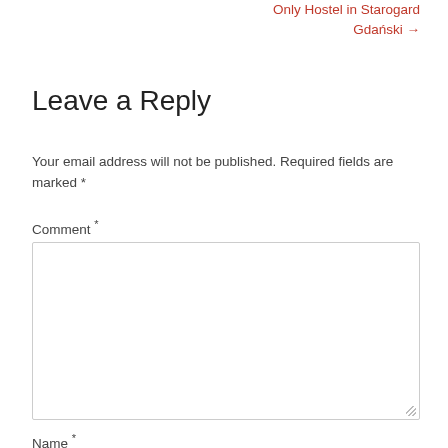Only Hostel in Starogard Gdański →
Leave a Reply
Your email address will not be published. Required fields are marked *
Comment *
Name *